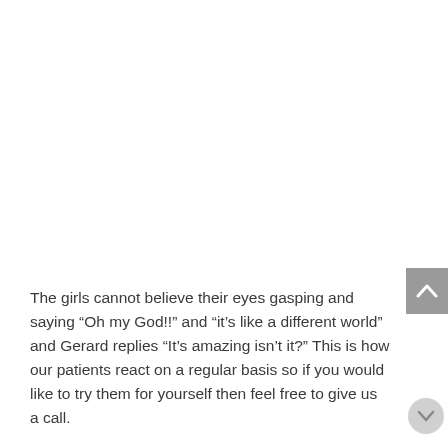The girls cannot believe their eyes gasping and saying “Oh my God!!” and “it’s like a different world” and Gerard replies “It’s amazing isn’t it?” This is how our patients react on a regular basis so if you would like to try them for yourself then feel free to give us a call.